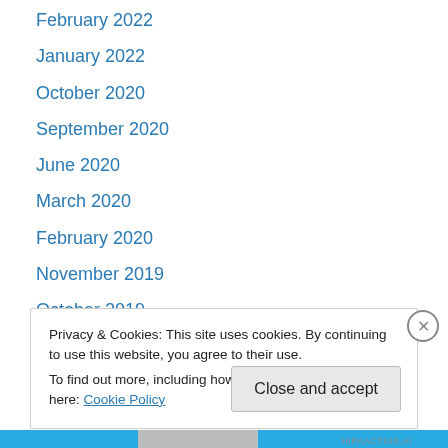February 2022
January 2022
October 2020
September 2020
June 2020
March 2020
February 2020
November 2019
October 2019
September 2019
August 2019
March 2019
February 2019
Privacy & Cookies: This site uses cookies. By continuing to use this website, you agree to their use.
To find out more, including how to control cookies, see here: Cookie Policy
Close and accept